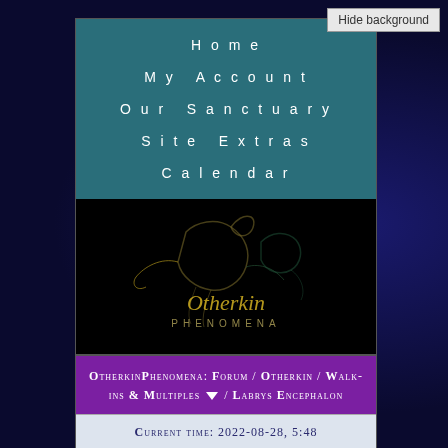Home
My Account
Our Sanctuary
Site Extras
Calendar
[Figure (logo): OtherkinPhenomena logo with stylized dark horse/creature figure and golden script text 'Otherkin PHENOMENA' on black background]
OtherkinPhenomena: Forum / Otherkin / Walk-ins & Multiples ▼ / Labrys Encephalon
Current time: 2022-08-28, 5:48
Updates
Hello There, Guest!
Username
●●●●●●●